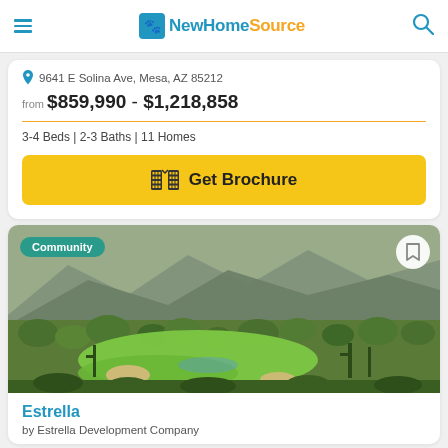NewHomeSource
9641 E Solina Ave, Mesa, AZ 85212
from $859,990 - $1,218,858
3-4 Beds | 2-3 Baths | 11 Homes
Get Brochure
[Figure (photo): Aerial view of a desert golf course community with green fairways, sand traps, desert vegetation, and mountains in the background]
Estrella
by Estrella Development Company